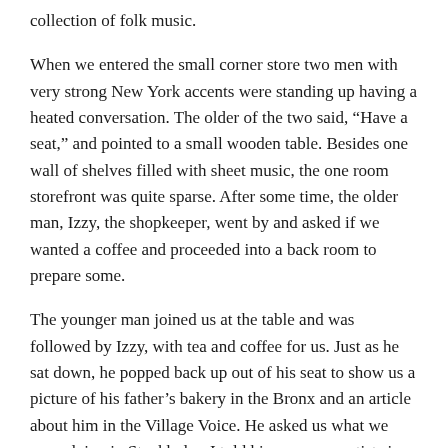collection of folk music.
When we entered the small corner store two men with very strong New York accents were standing up having a heated conversation. The older of the two said, “Have a seat,” and pointed to a small wooden table. Besides one wall of shelves filled with sheet music, the one room storefront was quite sparse. After some time, the older man, Izzy, the shopkeeper, went by and asked if we wanted a coffee and proceeded into a back room to prepare some.
The younger man joined us at the table and was followed by Izzy, with tea and coffee for us. Just as he sat down, he popped back up out of his seat to show us a picture of his father’s bakery in the Bronx and an article about him in the Village Voice. He asked us what we were doing in Stockholm. I told him we were artists in residence down the street at IASPIS. He said, “artists? “What kind of artists?